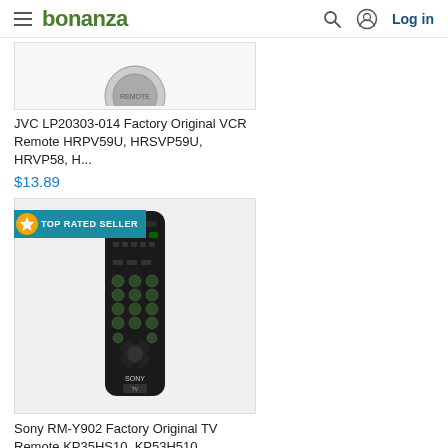bonanza  Log in
[Figure (photo): Partial view of a product image (circular object on light background) - JVC VCR Remote]
JVC LP20303-014 Factory Original VCR Remote HRPV59U, HRSVP59U, HRVP58, H...
$13.89
[Figure (photo): Sony RM-Y902 Factory Original TV Remote control, black with buttons, shown against white background inside a product card with TOP RATED SELLER badge]
Sony RM-Y902 Factory Original TV Remote KP35HS10, KP53H510, KP61H510, KP...